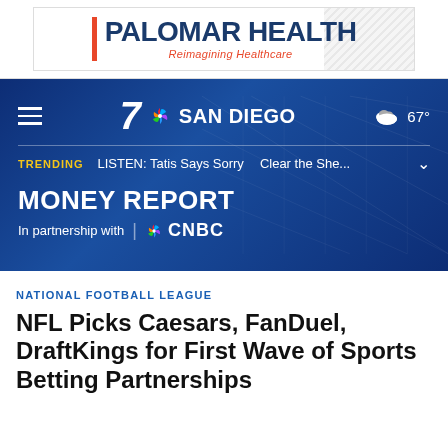[Figure (logo): Palomar Health advertisement banner with red bar, bold navy text reading PALOMAR HEALTH, and orange italic tagline Reimagining Healthcare, diagonal stripe pattern on right side]
7 SAN DIEGO | 67°
TRENDING   LISTEN: Tatis Says Sorry   Clear the She...
MONEY REPORT
In partnership with | NBC CNBC
NATIONAL FOOTBALL LEAGUE
NFL Picks Caesars, FanDuel, DraftKings for First Wave of Sports Betting Partnerships